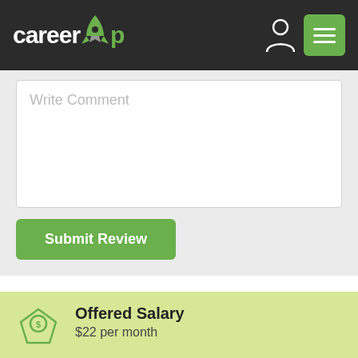careerup
Write Comment
Submit Review
Offered Salary
$22 per month
Experience